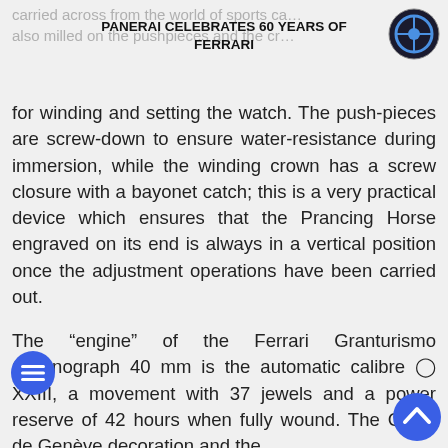PANERAI CELEBRATES 60 YEARS OF FERRARI
for winding and setting the watch. The push-pieces are screw-down to ensure water-resistance during immersion, while the winding crown has a screw closure with a bayonet catch; this is a very practical device which ensures that the Prancing Horse engraved on its end is always in a vertical position once the adjustment operations have been carried out.
The “engine” of the Ferrari Granturismo Chronograph 40 mm is the automatic calibre ○ XXIII, a movement with 37 jewels and a power reserve of 42 hours when fully wound. The Côtes de Genève decoration and the